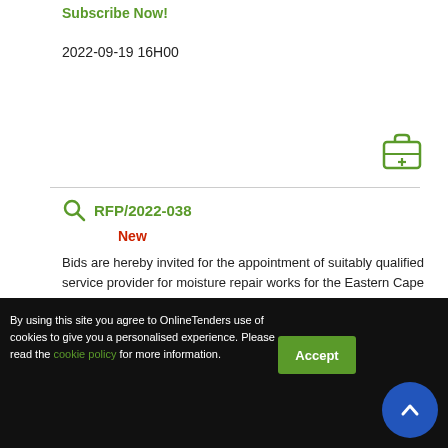Subscribe Now!
2022-09-19 16H00
RFP/2022-038
New
Bids are hereby invited for the appointment of suitably qualified service provider for moisture repair works for the Eastern Cape Office in East London. Place where goods, works or services are required: 7 Rochester Street - Vincent - East London - 5200.
To view details
Subscribe Now!
By using this site you agree to OnlineTenders use of cookies to give you a personalised experience. Please read the cookie policy for more information.